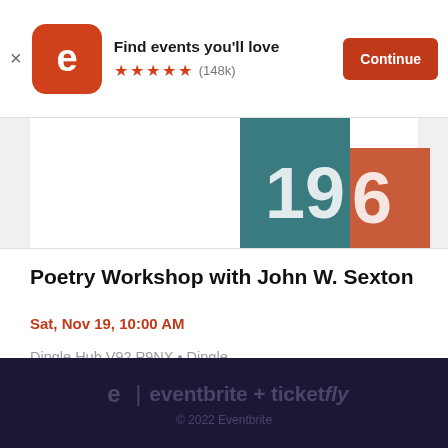Find events you'll love  ★★★★★ (148k)  Continue
[Figure (screenshot): Partial event banner image showing teal and orange-red graphic blocks with partial numbers/letters visible]
Poetry Workshop with John W. Sexton
Sat, Nov 19, 10:00 AM
Dingle Hub V92 P9NX • Dingle
€54.23
eventbrite + ticketfly  © 2022 Eventbrite